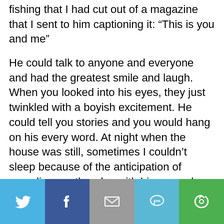fishing that I had cut out of a magazine that I sent to him captioning it: “This is you and me”
He could talk to anyone and everyone and had the greatest smile and laugh. When you looked into his eyes, they just twinkled with a boyish excitement. He could tell you stories and you would hang on his every word. At night when the house was still, sometimes I couldn’t sleep because of the anticipation of spending another day with him wound me up.
He wasn’t about what you had but what you could make of a situation. He was about people and getting to know them and being genuine. Sometimes, when we would be in the basement
[Figure (infographic): Social sharing bar with five buttons: Twitter (blue bird icon), Facebook (dark blue f icon), Email (grey envelope icon), SMS (teal speech bubble with SMS text), ShareThis (green circular arrow icon)]